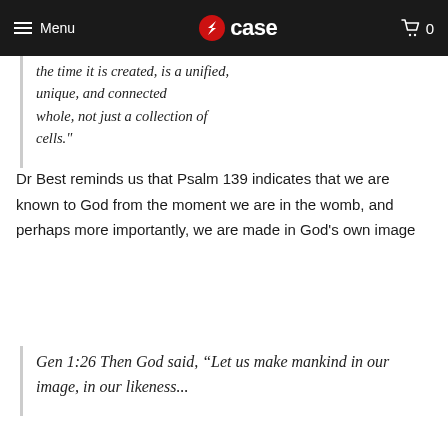Menu | CASE | 0
the time it is created, is a unified, unique, and connected whole, not just a collection of cells."
Dr Best reminds us that Psalm 139 indicates that we are known to God from the moment we are in the womb, and perhaps more importantly, we are made in God's own image
Gen 1:26 Then God said, “Let us make mankind in our image, in our likeness...